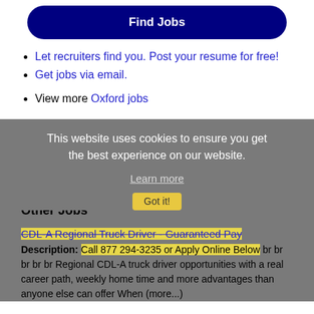Find Jobs
Let recruiters find you. Post your resume for free!
Get jobs via email.
View more Oxford jobs
This website uses cookies to ensure you get the best experience on our website. Learn more Got it!
Other Jobs
CDL-A Regional Truck Driver - Guaranteed Pay
Description: Call 877 294-3235 or Apply Online Below br br br br br Regional CDL-A truck driver opportunities with a real career path, weekly home time and more advantages than anyone else can offer When (more...)